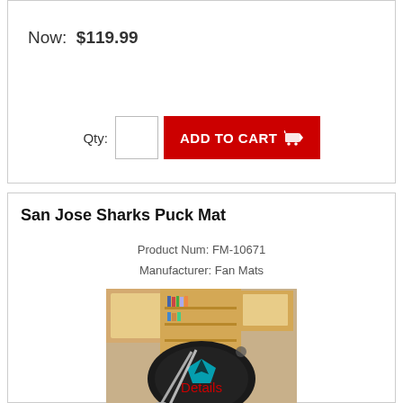Now:  $119.99
Qty:  ADD TO CART
San Jose Sharks Puck Mat
Product Num: FM-10671
Manufacturer: Fan Mats
[Figure (photo): Photo of a circular San Jose Sharks puck mat on a hardwood floor with hockey sticks and furniture in the background]
Details